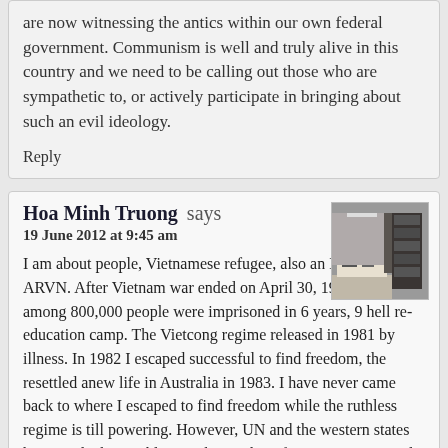are now witnessing the antics within our own federal government. Communism is well and truly alive in this country and we need to be calling out those who are sympathetic to, or actively participate in bringing about such an evil ideology.
Reply
Hoa Minh Truong says
19 June 2012 at 9:45 am
[Figure (photo): Avatar/profile photo thumbnail showing an indoor scene, possibly an office or store with shelving/equipment.]
I am about people, Vietnamese refugee, also an Ex-Lieut of ARVN. After Vietnam war ended on April 30, 1975, I was among 800,000 people were imprisoned in 6 years, 9 hell re-education camp. The Vietcong regime released in 1981 by illness. In 1982 I escaped successful to find freedom, the resettled anew life in Australia in 1983. I have never came back to where I escaped to find freedom while the ruthless regime is till powering. However, UN and the western states have made the terrible mistake, so the refugeestatus approval went